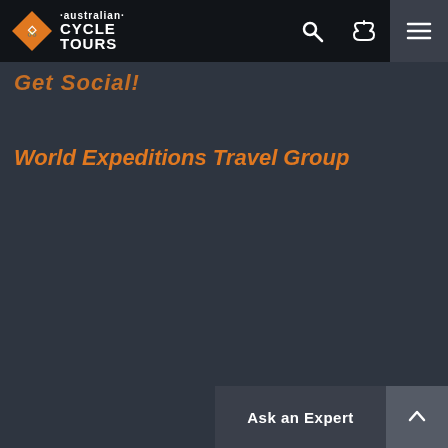australian CYCLE TOURS
Get Social!
World Expeditions Travel Group
Ask an Expert